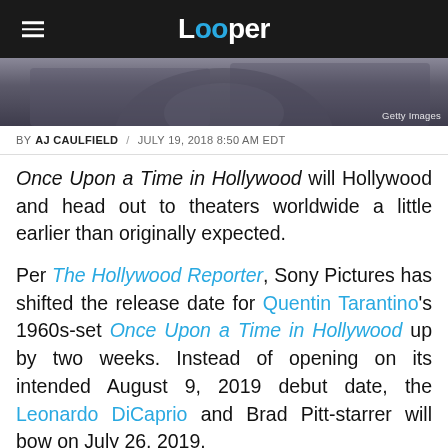Looper
[Figure (photo): Cropped photo of a person's lower face and denim jacket, with Getty Images watermark in bottom right]
BY AJ CAULFIELD / JULY 19, 2018 8:50 AM EDT
Once Upon a Time in Hollywood will Hollywood and head out to theaters worldwide a little earlier than originally expected.
Per The Hollywood Reporter, Sony Pictures has shifted the release date for Quentin Tarantino's 1960s-set Once Upon a Time in Hollywood up by two weeks. Instead of opening on its intended August 9, 2019 debut date, the Leonardo DiCaprio and Brad Pitt-starrer will bow on July 26, 2019.